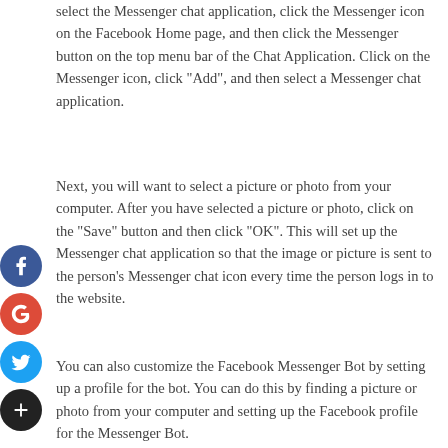select the Messenger chat application, click the Messenger icon on the Facebook Home page, and then click the Messenger button on the top menu bar of the Chat Application. Click on the Messenger icon, click "Add", and then select a Messenger chat application.
Next, you will want to select a picture or photo from your computer. After you have selected a picture or photo, click on the "Save" button and then click "OK". This will set up the Messenger chat application so that the image or picture is sent to the person's Messenger chat icon every time the person logs in to the website.
You can also customize the Facebook Messenger Bot by setting up a profile for the bot. You can do this by finding a picture or photo from your computer and setting up the Facebook profile for the Messenger Bot.